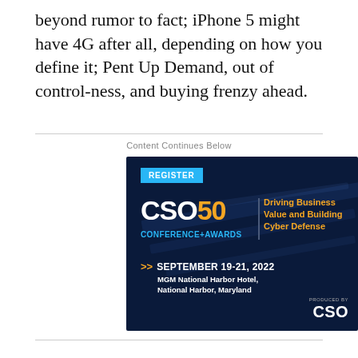beyond rumor to fact; iPhone 5 might have 4G after all, depending on how you define it; Pent Up Demand, out of control-ness, and buying frenzy ahead.
Content Continues Below
[Figure (other): CSO50 Conference+Awards advertisement banner. Dark blue background with light streaks. Shows 'REGISTER' button, CSO50 logo, 'Driving Business Value and Building Cyber Defense' tagline, date 'SEPTEMBER 19-21, 2022', venue 'MGM National Harbor Hotel, National Harbor, Maryland', and 'PRODUCED BY CSO' logo.]